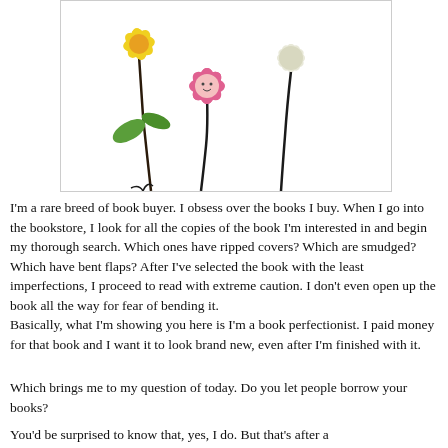[Figure (illustration): Illustration of cartoon flowers: a yellow flower, a pink daisy-like flower with a face, and a white round flower on stems with green leaves, drawn in a whimsical style.]
I'm a rare breed of book buyer. I obsess over the books I buy. When I go into the bookstore, I look for all the copies of the book I'm interested in and begin my thorough search. Which ones have ripped covers? Which are smudged? Which have bent flaps? After I've selected the book with the least imperfections, I proceed to read with extreme caution. I don't even open up the book all the way for fear of bending it.
Basically, what I'm showing you here is I'm a book perfectionist. I paid money for that book and I want it to look brand new, even after I'm finished with it.
Which brings me to my question of today. Do you let people borrow your books?
You'd be surprised to know that, yes, I do. But that's after a